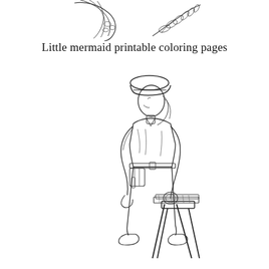[Figure (illustration): Partial top illustration of a little mermaid coloring page — shows flowing hair/fins and decorative leaf branch elements at the top of the page]
Little mermaid printable coloring pages
[Figure (illustration): Line drawing coloring page illustration of a construction worker or carpenter wearing a hard hat and tool belt, bending forward to work on a sawhorse with lumber planks]